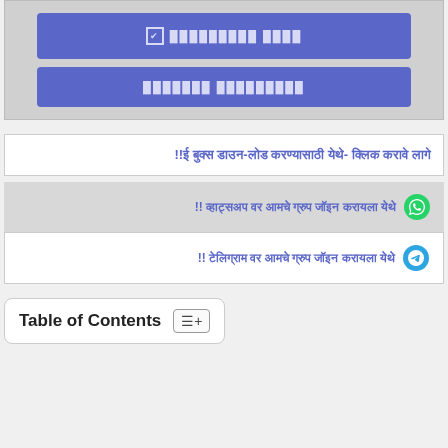[Figure (screenshot): Blue button with checkbox icon and Hindi/Marathi text in light color]
[Figure (screenshot): Blue button with Hindi/Marathi text in light color]
ई बुक्स डाउन-लोड करण्यासाठी येथे- क्लिक करावे लागे!!
WhatsApp icon with Marathi text: व्हाट्सअप वर आमचे ग्रुप जॉइन करायला येथे !!
Telegram icon with Marathi text: टेलिग्राम वर आमचे ग्रुप जॉइन करायला येथे !!
Table of Contents